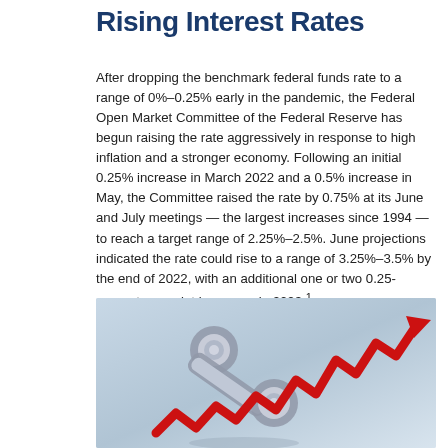Rising Interest Rates
After dropping the benchmark federal funds rate to a range of 0%–0.25% early in the pandemic, the Federal Open Market Committee of the Federal Reserve has begun raising the rate aggressively in response to high inflation and a stronger economy. Following an initial 0.25% increase in March 2022 and a 0.5% increase in May, the Committee raised the rate by 0.75% at its June and July meetings — the largest increases since 1994 — to reach a target range of 2.25%–2.5%. June projections indicated the rate could rise to a range of 3.25%–3.5% by the end of 2022, with an additional one or two 0.25-percentage-point increases in 2023.¹
[Figure (illustration): 3D metallic percent sign symbol with a red zigzag arrow rising upward to the right, on a light blue-grey gradient background, illustrating rising interest rates.]